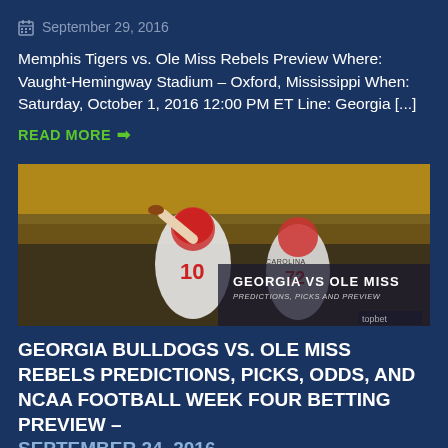September 29, 2016
Memphis Tigers vs. Ole Miss Rebels Preview Where: Vaught-Hemingway Stadium – Oxford, Mississippi When: Saturday, October 1, 2016 12:00 PM ET Line: Georgia [...]
READ MORE ➔
[Figure (photo): Football players in white uniforms with numbers 10 and 72, quarterback throwing, with text overlay: GEORGIA VS OLE MISS PREDICTIONS, PICKS AND PREVIEW, topbet logo]
GEORGIA BULLDOGS VS. OLE MISS REBELS PREDICTIONS, PICKS, ODDS, AND NCAA FOOTBALL WEEK FOUR BETTING PREVIEW – SEPTEMBER 24, 2016